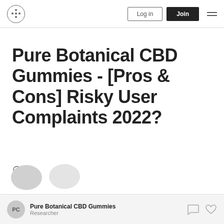Pure Botanical CBD Gummies | Log in | Join
Pure Botanical CBD Gummies - [Pros & Cons] Risky User Complaints 2022?
Pure Botanical CBD Gummies · Researcher